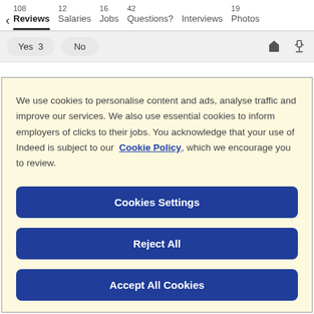< 108 Reviews  12 Salaries  16 Jobs  42 Questions?  Interviews  19 Photos
Yes 3   No
We use cookies to personalise content and ads, analyse traffic and improve our services. We also use essential cookies to inform employers of clicks to their jobs. You acknowledge that your use of Indeed is subject to our Cookie Policy, which we encourage you to review.
Cookies Settings
Reject All
Accept All Cookies